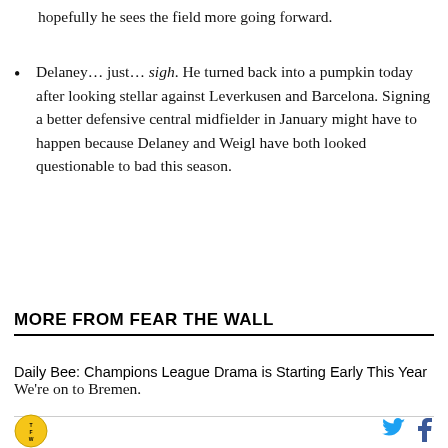hopefully he sees the field more going forward.
Delaney… just… sigh. He turned back into a pumpkin today after looking stellar against Leverkusen and Barcelona. Signing a better defensive central midfielder in January might have to happen because Delaney and Weigl have both looked questionable to bad this season.
We're on to Bremen.
MORE FROM FEAR THE WALL
Daily Bee: Champions League Drama is Starting Early This Year